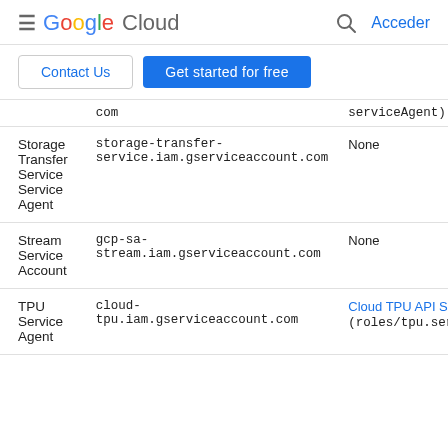Google Cloud — Acceder
Contact Us | Get started for free
| Service | Email | Role |
| --- | --- | --- |
|  | com | serviceAgent) |
| Storage Transfer Service Service Agent | storage-transfer-service.iam.gserviceaccount.com | None |
| Stream Service Account | gcp-sa-stream.iam.gserviceaccount.com | None |
| TPU Service Agent | cloud-tpu.iam.gserviceaccount.com | Cloud TPU API Service Agent (roles/tpu.serviceAgent) |